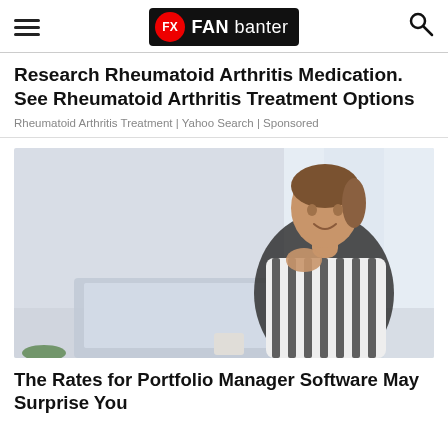FAN banter
Research Rheumatoid Arthritis Medication. See Rheumatoid Arthritis Treatment Options
Rheumatoid Arthritis Treatment | Yahoo Search | Sponsored
[Figure (photo): Woman smiling while working on a laptop at a desk, wearing a striped shirt, blurred office background]
The Rates for Portfolio Manager Software May Surprise You